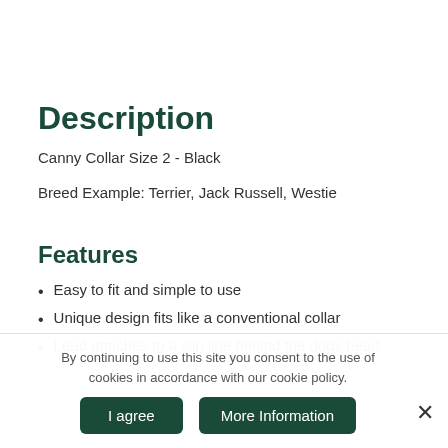Description
Canny Collar Size 2 - Black
Breed Example: Terrier, Jack Russell, Westie
Features
Easy to fit and simple to use
Unique design fits like a conventional collar
Lead attaches to a slip line behind the dogs head
By continuing to use this site you consent to the use of cookies in accordance with our cookie policy.